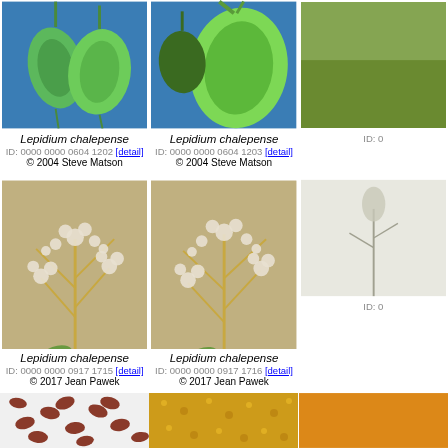[Figure (photo): Two green seed pods of Lepidium chalepense on blue background]
Lepidium chalepense
ID: 0000 0000 0604 1202 [detail]
© 2004 Steve Matson
[Figure (photo): Large green seed pod of Lepidium chalepense on blue background]
Lepidium chalepense
ID: 0000 0000 0604 1203 [detail]
© 2004 Steve Matson
[Figure (photo): Partial view of plant on right edge]
ID: 0
[Figure (photo): Lepidium chalepense plant with white clusters against dry grass background]
Lepidium chalepense
ID: 0000 0000 0917 1715 [detail]
© 2017 Jean Pawek
[Figure (photo): Lepidium chalepense plant with white clusters against dry grass background]
Lepidium chalepense
ID: 0000 0000 0917 1716 [detail]
© 2017 Jean Pawek
[Figure (photo): Partial view of small plant specimen on white/gray background]
ID: 0
[Figure (photo): Dark reddish-brown seeds on white background]
[Figure (photo): Yellow-orange granular material]
[Figure (photo): Partial view of orange/yellow material]